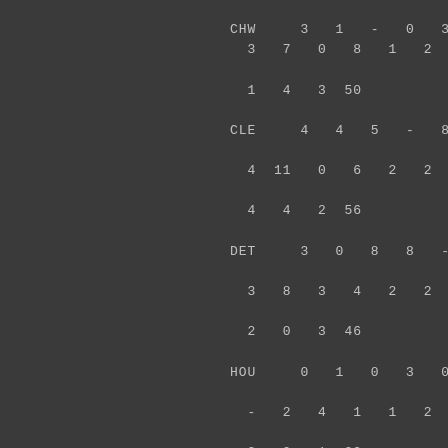CHW  3  1  -  0  3
3  7  0  8  1  2  1
1  4  3 50
CLE  4  4  5  -  8
4 11  0  6  2  2  0
4  4  2 56
DET  3  0  8  8  -
3  8  3  4  2  2  0
2  0  3 46
HOU  0  1  0  3  0
-  2  4  1  1  2  3
2  9  1 29
KCR  5  4  5  4  7
4  -  4  4  1  0  2
4  4  2 50
LAA  6  3  4  3  4
6  0  -  4  3  2  2
2  9  4 52
MIN  4  2  6  4  6
5  5  3  -  5  2  3
1  2  3 51